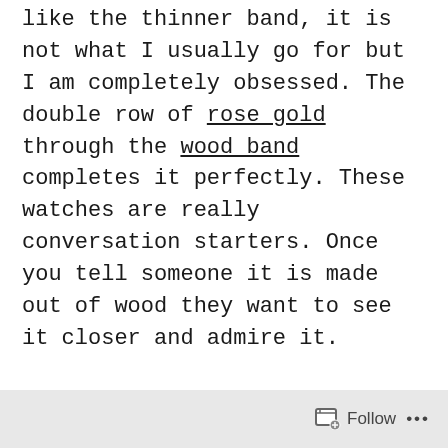like the thinner band, it is not what I usually go for but I am completely obsessed. The double row of rose gold through the wood band completes it perfectly. These watches are really conversation starters. Once you tell someone it is made out of wood they want to see it closer and admire it.
I highly recommend checking them out, they have such great women's and men's styles, plus Jord has customizable options which makes these great gifts as well. You can get the back of your watch engraved OR get the wood box it comes in engraved with a message
Follow ...